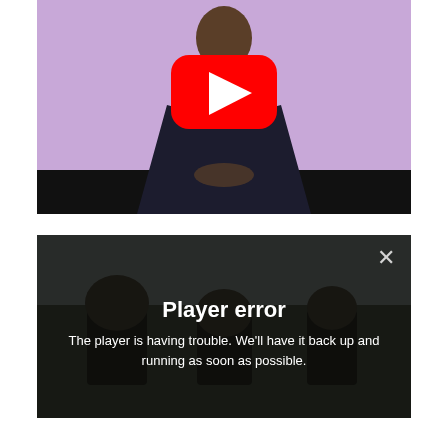[Figure (screenshot): YouTube video thumbnail showing a man in a dark suit against a purple background, with a red YouTube play button overlay in the center.]
[Figure (screenshot): Video player error screen over a dark image of farm machinery. Shows a white X close button in top right, bold white text 'Player error', and smaller white text 'The player is having trouble. We'll have it back up and running as soon as possible.']